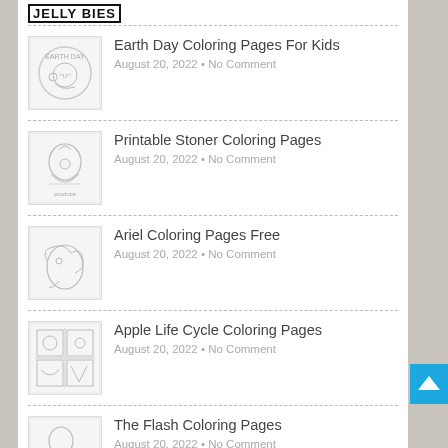JellyBies
Earth Day Coloring Pages For Kids
August 20, 2022 • No Comment
Printable Stoner Coloring Pages
August 20, 2022 • No Comment
Ariel Coloring Pages Free
August 20, 2022 • No Comment
Apple Life Cycle Coloring Pages
August 20, 2022 • No Comment
The Flash Coloring Pages
August 20, 2022 • No Comment
[Figure (illustration): Back to top button arrow]